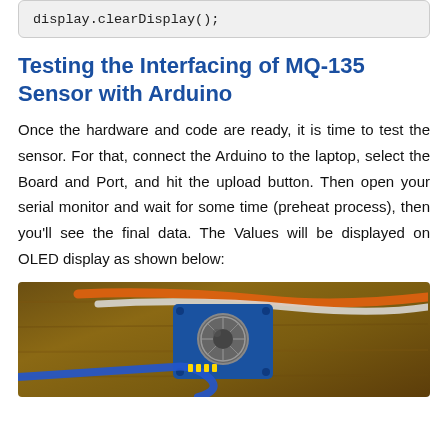display.clearDisplay();
Testing the Interfacing of MQ-135 Sensor with Arduino
Once the hardware and code are ready, it is time to test the sensor. For that, connect the Arduino to the laptop, select the Board and Port, and hit the upload button. Then open your serial monitor and wait for some time (preheat process), then you'll see the final data. The Values will be displayed on OLED display as shown below:
[Figure (photo): Photo of MQ-135 gas sensor module with blue PCB and wires on a wooden surface]